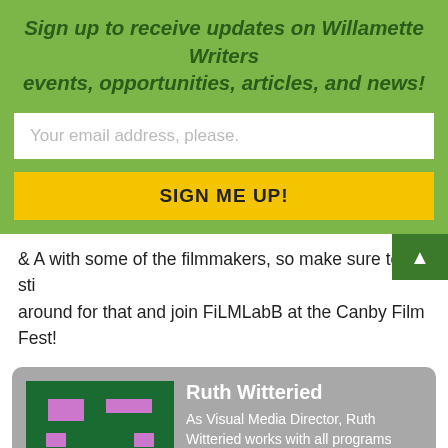Sign up to receive updates on Willamette Writers events, opportunities, articles, and news!
Your email address, please.
SIGN ME UP!
& A with some of the filmmakers, so make sure to stick around for that and join FiLMLabB at the Canby Film Fest!
Ruth Witteried
As Visual Media Director, Ruth Witteried works with all programs based in the visual arts, including screenwriting and film production. As Executive Director of the FiLMlaB competition and project, she produced the 2012 FiLMlaB short, Alis Volat Propriis, winner of the 2013 OIFF Best Comedic Short; 2013's Coffee.Table.Book.; 2014's Unwelcome Guests, and in 2015, The Return of Bug